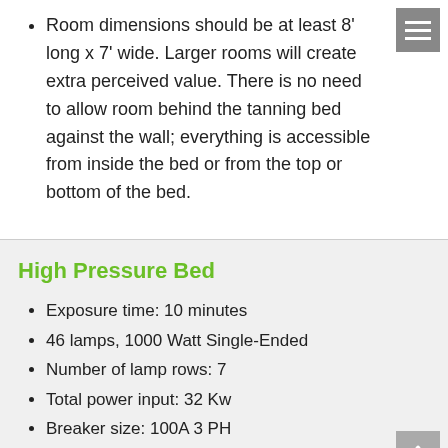Room dimensions should be at least 8' long x 7' wide. Larger rooms will create extra perceived value. There is no need to allow room behind the tanning bed against the wall; everything is accessible from inside the bed or from the top or bottom of the bed.
High Pressure Bed
Exposure time: 10 minutes
46 lamps, 1000 Watt Single-Ended
Number of lamp rows: 7
Total power input: 32 Kw
Breaker size: 100A 3 PH
Voltage input: 230 Volts